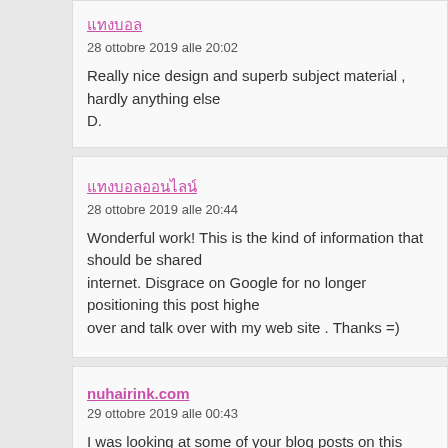Comment by: [Thai characters] — 28 ottobre 2019 alle 20:02 — Really nice design and superb subject material , hardly anything else D.
Comment by: [Thai characters] — 28 ottobre 2019 alle 20:44 — Wonderful work! This is the kind of information that should be shared internet. Disgrace on Google for no longer positioning this post highe over and talk over with my web site . Thanks =)
Comment by: nuhairink.com — 29 ottobre 2019 alle 00:43 — I was looking at some of your blog posts on this internet site and I co site is really informative ! Continue putting up.
Comment by: YouVive — 31 ottobre 2019 alle 04:21